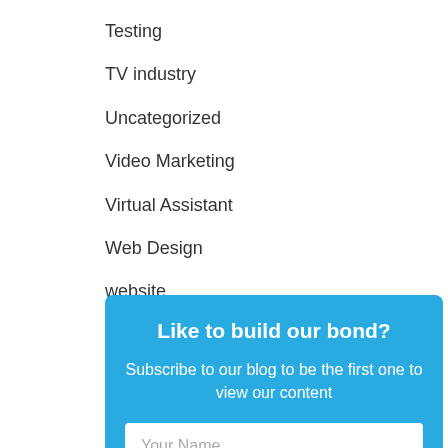Testing
TV industry
Uncategorized
Video Marketing
Virtual Assistant
Web Design
website
WWDC2018
Like to build our bond?
Subscribe to our blog to be the first one to view our content
Your Name